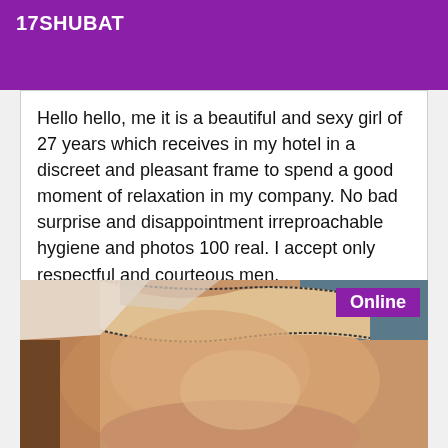17SHUBAT
Hello hello, me it is a beautiful and sexy girl of 27 years which receives in my hotel in a discreet and pleasant frame to spend a good moment of relaxation in my company. No bad surprise and disappointment irreproachable hygiene and photos 100 real. I accept only respectful and courteous men.
[Figure (photo): Photo of a person in beige/nude colored swimwear, close-up body shot. An 'Online' badge in purple is shown in the top right corner.]